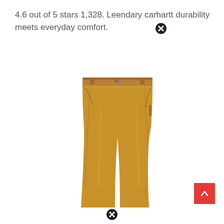4.6 out of 5 stars 1,328. Legendary carhartt durability meets everyday comfort.
[Figure (photo): A pair of tan/brown Carhartt work pants laid flat on a white background, showing front view with belt loops, button fly, and pockets.]